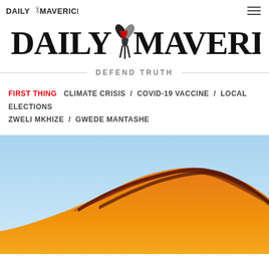DAILY MAVERICK
DAILY MAVERICK
DEFEND TRUTH
FIRST THING  CLIMATE CRISIS  COVID-19 VACCINE  LOCAL ELECTIONS  ZWELI MKHIZE  GWEDE MANTASHE
[Figure (photo): Orange sand dune with dark reddish-brown crest against a clear blue sky — likely the Namib Desert.]